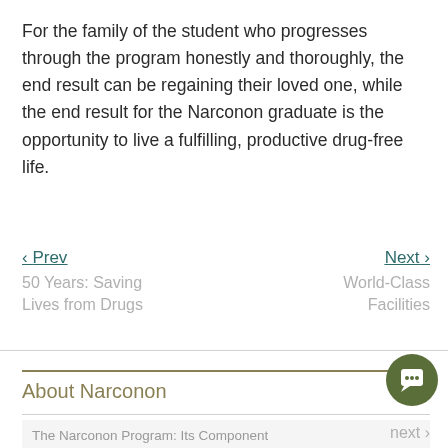For the family of the student who progresses through the program honestly and thoroughly, the end result can be regaining their loved one, while the end result for the Narconon graduate is the opportunity to live a fulfilling, productive drug-free life.
‹ Prev
50 Years: Saving Lives from Drugs
Next ›
World-Class Facilities
About Narconon
The Narconon Program: Its Component